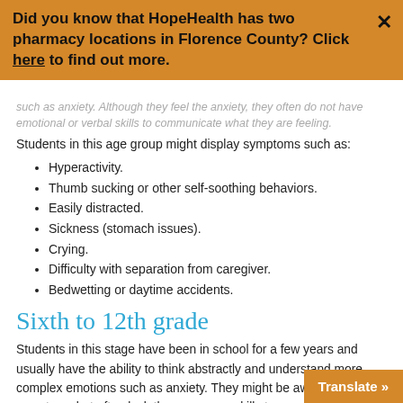Did you know that HopeHealth has two pharmacy locations in Florence County? Click here to find out more.
such as anxiety. Although they feel the anxiety, they often do not have emotional or verbal skills to communicate what they are feeling.
Students in this age group might display symptoms such as:
Hyperactivity.
Thumb sucking or other self-soothing behaviors.
Easily distracted.
Sickness (stomach issues).
Crying.
Difficulty with separation from caregiver.
Bedwetting or daytime accidents.
Sixth to 12th grade
Students in this stage have been in school for a few years and usually have the ability to think abstractly and understand more complex emotions such as anxiety. They might be aware of the symptoms but often lack the necessary skills to cope. Some might feel embarrassed due to peer pressure or the stigma associated wit